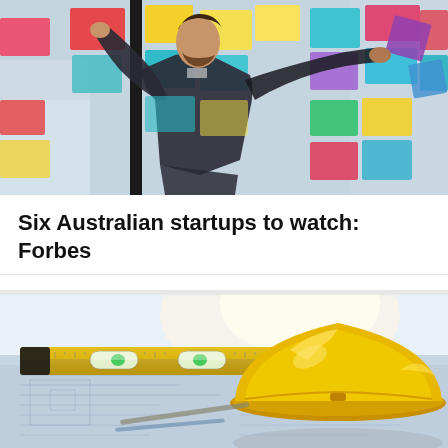[Figure (photo): A person in a suit placing or arranging colorful sticky notes (red, pink, yellow, teal, blue, purple) on a glass wall or board in an office setting. The person is seen from behind/side, reaching up toward the notes.]
Six Australian startups to watch: Forbes
[Figure (photo): A yellow hard hat (construction helmet) and a yellow spirit level resting on top of architectural blueprints/plans. The image is brightly lit with sunlight creating highlights on the hard hat.]